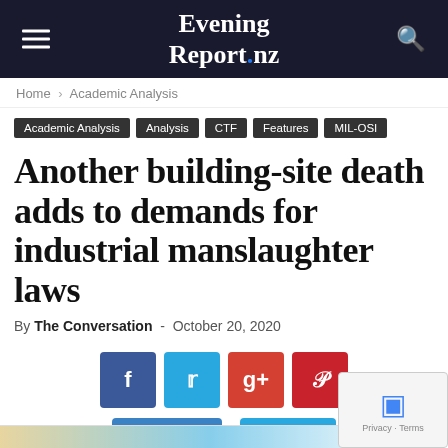Evening Report.nz
Home › Academic Analysis
Academic Analysis | Analysis | CTF | Features | MIL-OSI
Another building-site death adds to demands for industrial manslaughter laws
By The Conversation - October 20, 2020
[Figure (other): Social share buttons: Facebook, Twitter, Google+, Pinterest, Like 0, Tweet]
Article sponsored by NewzEngine.com